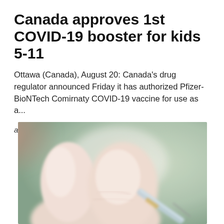Canada approves 1st COVID-19 booster for kids 5-11
Ottawa (Canada), August 20: Canada's drug regulator announced Friday it has authorized Pfizer-BioNTech Comirnaty COVID-19 vaccine for use as a...
at Aug 20, 2022
[Figure (photo): Close-up photo of a gloved hand holding a syringe, blurred background with green and warm tones, suggesting a medical/vaccination context.]